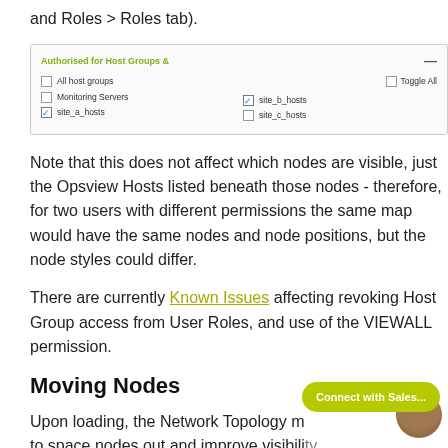and Roles > Roles tab).
[Figure (screenshot): UI screenshot showing 'Authorised for Host Groups' panel with checkboxes for All host groups, Monitoring Servers, site_a_hosts, site_b_hosts, site_c_hosts, and a Toggle All button]
Note that this does not affect which nodes are visible, just the Opsview Hosts listed beneath those nodes - therefore, for two users with different permissions the same map would have the same nodes and node positions, but the node styles could differ.
There are currently Known Issues affecting revoking Host Group access from User Roles, and use of the VIEWALL permission.
Moving Nodes
Upon loading, the Network Topology map attempts to space nodes out and improve visibility.